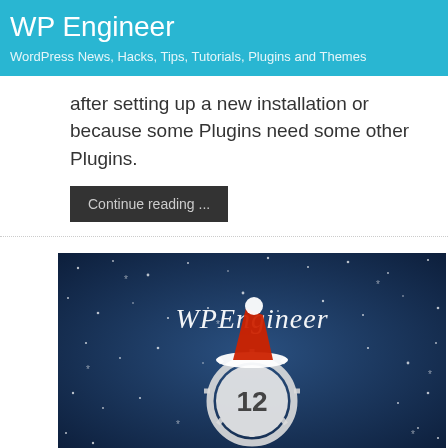WP Engineer
WordPress News, Hacks, Tips, Tutorials, Plugins and Themes
after setting up a new installation or because some Plugins need some other Plugins.
Continue reading ...
[Figure (illustration): WP Engineer Christmas themed image with a clock showing 12, a Santa hat, and snowflakes on a dark blue background]